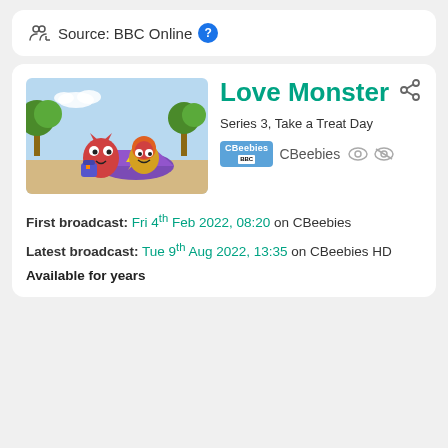Source: BBC Online ?
Love Monster
Series 3, Take a Treat Day
CBeebies
First broadcast: Fri 4th Feb 2022, 08:20 on CBeebies
Latest broadcast: Tue 9th Aug 2022, 13:35 on CBeebies HD
Available for years